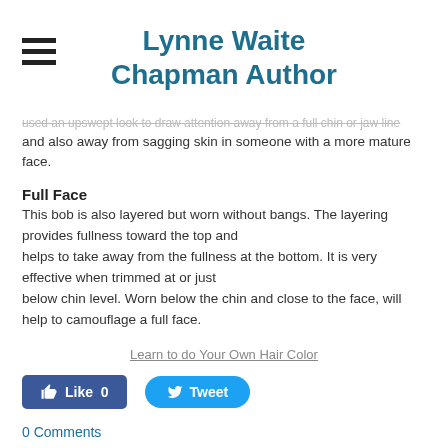Lynne Waite Chapman Author
and also away from sagging skin in someone with a more mature face.
Full Face
This bob is also layered but worn without bangs. The layering provides fullness toward the top and helps to take away from the fullness at the bottom. It is very effective when trimmed at or just below chin level. Worn below the chin and close to the face, will help to camouflage a full face.
Learn to do Your Own Hair Color
[Figure (other): Facebook Like button showing 0 likes and a Twitter Tweet button]
0 Comments
How to Treat Multi-Textured Hair